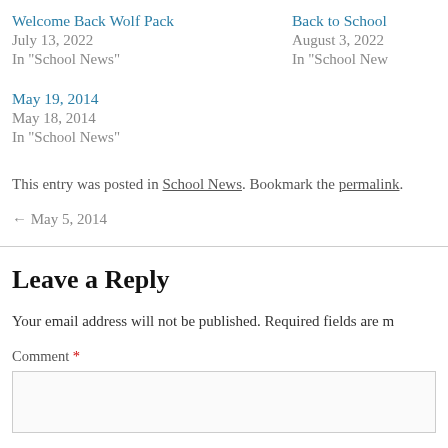Welcome Back Wolf Pack
July 13, 2022
In "School News"
Back to School
August 3, 2022
In "School News"
May 19, 2014
May 18, 2014
In "School News"
This entry was posted in School News. Bookmark the permalink.
← May 5, 2014
Leave a Reply
Your email address will not be published. Required fields are m
Comment *